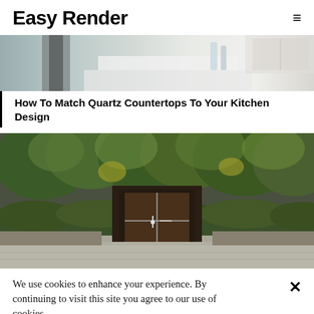Easy Render
[Figure (photo): Partial view of a modern white kitchen with countertops, a stool, and kitchen items]
How To Match Quartz Countertops To Your Kitchen Design
[Figure (photo): Architectural rendering of a modern home entrance with glass door and lush green surrounding plants and hedges]
We use cookies to enhance your experience. By continuing to visit this site you agree to our use of cookies.